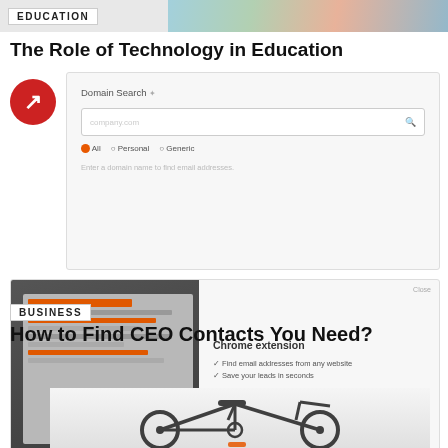EDUCATION
The Role of Technology in Education
[Figure (logo): Buzzfeed-style red circle logo with arrow]
[Figure (screenshot): Domain Search tool UI with search input, All/Personal/Generic filter, and enter domain text]
[Figure (screenshot): Chrome extension ad showing screenshots of Hunter tool on left and Chrome extension install prompt on right with orange install button]
BUSINESS
How to Find CEO Contacts You Need?
[Figure (photo): Partial photo of a black bicycle at the bottom of the page]